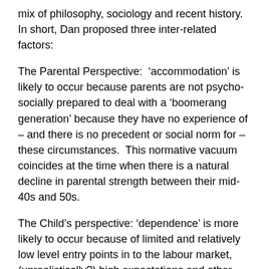mix of philosophy, sociology and recent history.  In short, Dan proposed three inter-related factors:
The Parental Perspective:  'accommodation' is likely to occur because parents are not psycho-socially prepared to deal with a 'boomerang generation' because they have no experience of – and there is no precedent or social norm for – these circumstances.  This normative vacuum coincides at the time when there is a natural decline in parental strength between their mid-40s and 50s.
The Child's perspective: 'dependence' is more likely to occur because of limited and relatively low level entry points in to the labour market, (unrealistically?) high expectations and other socio-economic factors that can lead to low self-esteem.  Add to this parental anxiety relating  to